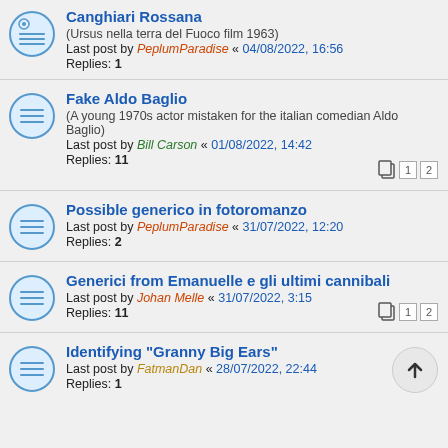Canghiari Rossana (Ursus nella terra del Fuoco film 1963) Last post by PeplumParadise « 04/08/2022, 16:56 Replies: 1
Fake Aldo Baglio (A young 1970s actor mistaken for the italian comedian Aldo Baglio) Last post by Bill Carson « 01/08/2022, 14:42 Replies: 11
Possible generico in fotoromanzo Last post by PeplumParadise « 31/07/2022, 12:20 Replies: 2
Generici from Emanuelle e gli ultimi cannibali Last post by Johan Melle « 31/07/2022, 3:15 Replies: 11
Identifying "Granny Big Ears" Last post by FatmanDan « 28/07/2022, 22:44 Replies: 1